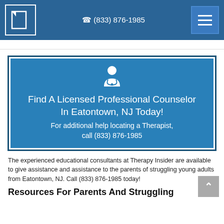(833) 876-1985
[Figure (infographic): Blue promotional banner with doctor icon: Find A Licensed Professional Counselor In Eatontown, NJ Today! For additional help locating a Therapist, call (833) 876-1985]
The experienced educational consultants at Therapy Insider are available to give assistance and assistance to the parents of struggling young adults from Eatontown, NJ. Call (833) 876-1985 today!
Resources For Parents And Struggling